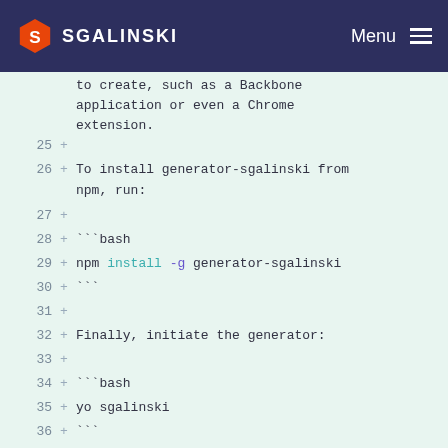SGALINSKI  Menu
to create, such as a Backbone application or even a Chrome extension.
25  +
26  + To install generator-sgalinski from npm, run:
27  +
28  + ```bash
29  + npm install -g generator-sgalinski
30  + ```
31  +
32  + Finally, initiate the generator:
33  +
34  + ```bash
35  + yo sgalinski
36  + ```
37  +
38  + ### Getting To Know Yeoman
39  +
40  + Yeoman has a heart of gold. He's a